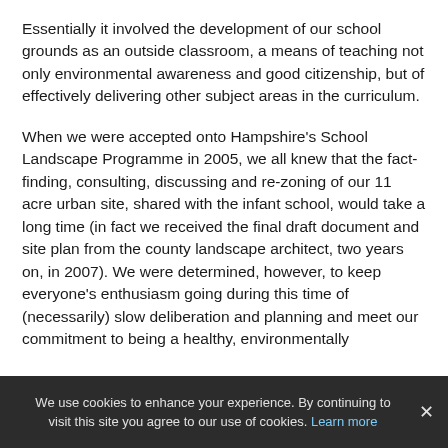Essentially it involved the development of our school grounds as an outside classroom, a means of teaching not only environmental awareness and good citizenship, but of effectively delivering other subject areas in the curriculum.
When we were accepted onto Hampshire's School Landscape Programme in 2005, we all knew that the fact-finding, consulting, discussing and re-zoning of our 11 acre urban site, shared with the infant school, would take a long time (in fact we received the final draft document and site plan from the county landscape architect, two years on, in 2007). We were determined, however, to keep everyone's enthusiasm going during this time of (necessarily) slow deliberation and planning and meet our commitment to being a healthy, environmentally
We use cookies to enhance your experience. By continuing to visit this site you agree to our use of cookies. Learn more ✕